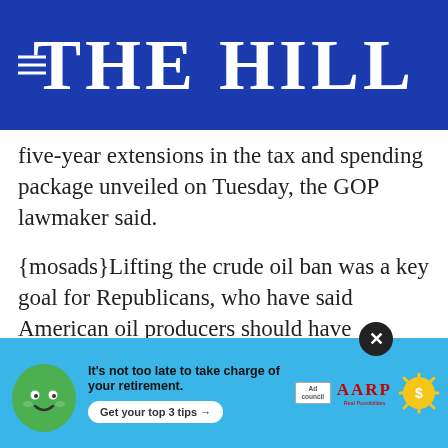THE HILL
five-year extensions in the tax and spending package unveiled on Tuesday, the GOP lawmaker said.
{mosads}Lifting the crude oil ban was a key goal for Republicans, who have said American oil producers should have expanded access to the international market at a time of low prices and new competition from Iranian oil.
Democrats have long proposed trading the renewable energy credits for crude oil exports, though until recently there was little movement on including it package to the Senate floor.
[Figure (infographic): AARP advertisement banner with a green cartoon mascot face, text 'It’s not too late to take charge of your retirement. Get your top 3 tips →', Ad Council logo, AARP logo, and a golden sun/coin graphic. Close (X) button in top right.]